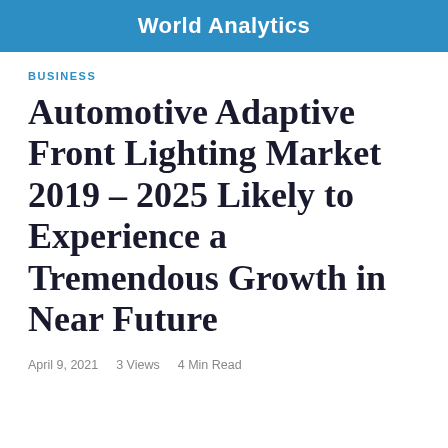World Analytics
BUSINESS
Automotive Adaptive Front Lighting Market 2019 – 2025 Likely to Experience a Tremendous Growth in Near Future
April 9, 2021    3 Views    4 Min Read